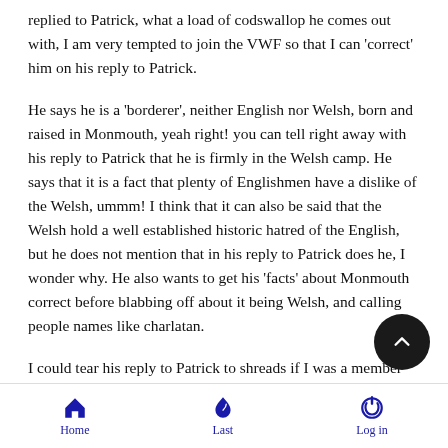replied to Patrick, what a load of codswallop he comes out with, I am very tempted to join the VWF so that I can 'correct' him on his reply to Patrick.
He says he is a 'borderer', neither English nor Welsh, born and raised in Monmouth, yeah right! you can tell right away with his reply to Patrick that he is firmly in the Welsh camp. He says that it is a fact that plenty of Englishmen have a dislike of the Welsh, ummm! I think that it can also be said that the Welsh hold a well established historic hatred of the English, but he does not mention that in his reply to Patrick does he, I wonder why. He also wants to get his 'facts' about Monmouth correct before blabbing off about it being Welsh, and calling people names like charlatan.
I could tear his reply to Patrick to shreads if I was a member the VWF, so you know Frank mate, I am tempted to sign up j to correct his deliberately misleading errors designed to throw
Home  Last  Log in